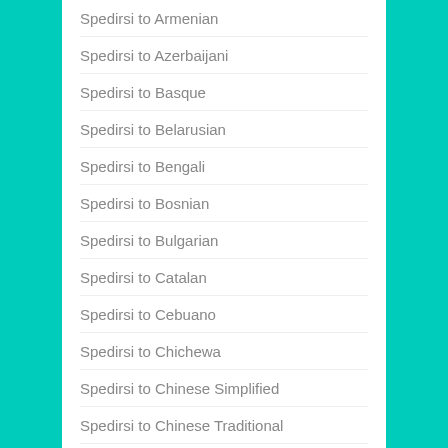Spedirsi to Armenian
Spedirsi to Azerbaijani
Spedirsi to Basque
Spedirsi to Belarusian
Spedirsi to Bengali
Spedirsi to Bosnian
Spedirsi to Bulgarian
Spedirsi to Catalan
Spedirsi to Cebuano
Spedirsi to Chichewa
Spedirsi to Chinese Simplified
Spedirsi to Chinese Traditional
Spedirsi to Corsican
Spedirsi to Croatian